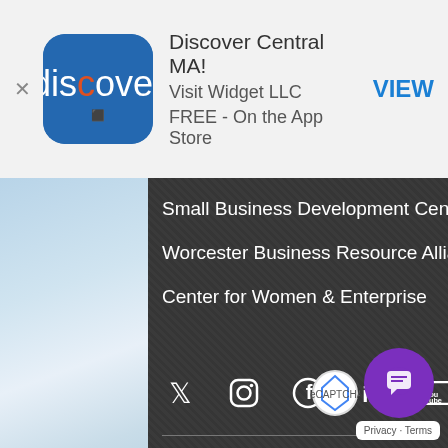[Figure (screenshot): App store banner with Discover Central MA app icon (blue rounded square with map of Massachusetts), app name, developer, price, and VIEW button]
Small Business Development Center
Worcester Business Resource Alliance
Center for Women & Enterprise
[Figure (infographic): Social media icons row: Twitter, Instagram, Facebook, LinkedIn, YouTube, SoundCloud]
WHERE WE'RE LOCATED
Worcester Regional Chamber of Commerce
311 Main Street, Suite 200
Worcester, MA 01608